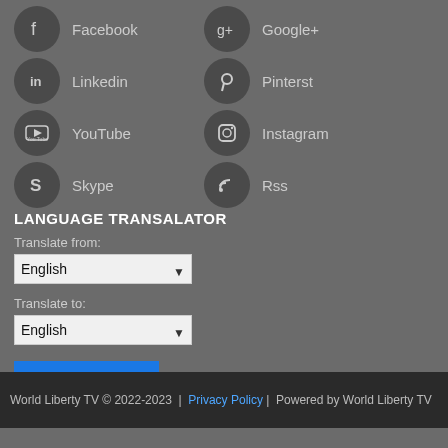Facebook
Google+
Linkedin
Pinterst
YouTube
Instagram
Skype
Rss
LANGUAGE TRANSALATOR
Translate from:
English
Translate to:
English
Translate
World Liberty TV © 2022-2023  |  Privacy Policy |  Powered by World Liberty TV